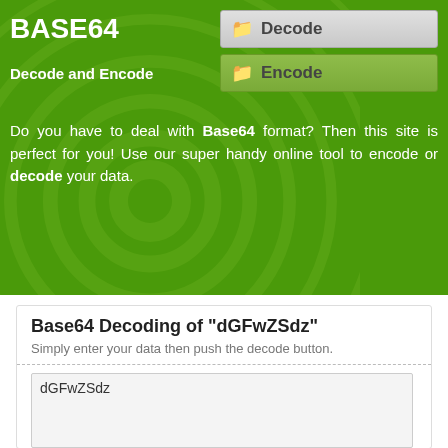BASE64
Decode and Encode
[Figure (screenshot): Decode button with folder icon, gray gradient background]
[Figure (screenshot): Encode button with folder icon, green gradient background]
Do you have to deal with Base64 format? Then this site is perfect for you! Use our super handy online tool to encode or decode your data.
Base64 Decoding of "dGFwZSdz"
Simply enter your data then push the decode button.
dGFwZSdz